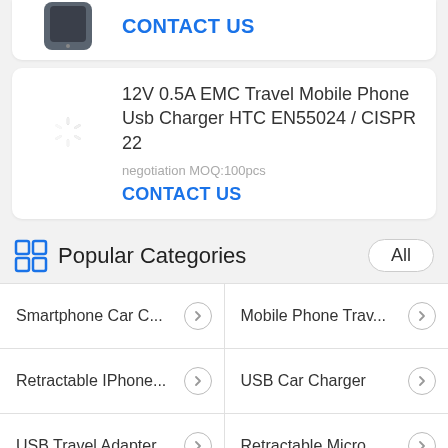[Figure (screenshot): Partial product card at top showing a device image cropped and a CONTACT US blue link]
12V 0.5A EMC Travel Mobile Phone Usb Charger HTC EN55024 / CISPR 22
negotiation MOQ:100pcs
CONTACT US
Popular Categories
Smartphone Car C...
Mobile Phone Trav...
Retractable IPhone...
USB Car Charger
USB Travel Adapter
Retractable Micro ...